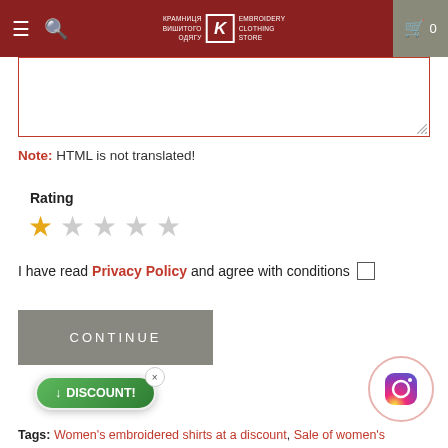Embroidery Clothing Store — navigation header
Note: HTML is not translated!
Rating
I have read Privacy Policy and agree with conditions
CONTINUE
↓ DISCOUNT!
[Figure (logo): Instagram circular icon button]
Tags: Women's embroidered shirts at a discount, Sale of women's